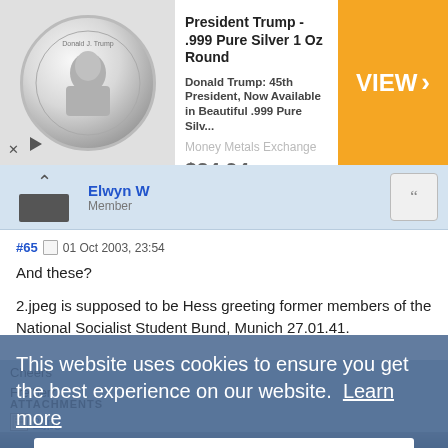[Figure (screenshot): Advertisement banner for President Trump .999 Pure Silver 1 Oz Round coin, priced at $24.94, with VIEW button, from Money Metals Exchange]
Elwyn W
Member
#65  01 Oct 2003, 23:54
And these?
2.jpeg is supposed to be Hess greeting former members of the National Socialist Student Bund, Munich 27.01.41.
Cheers
Freiherr
ATTACHMENTS
2.jpg
2.jpg (108.69 KiB) Viewed 18545 times
This website uses cookies to ensure you get the best experience on our website.  Learn more
Got it!
[Figure (photo): Black and white historical photograph at bottom of page]